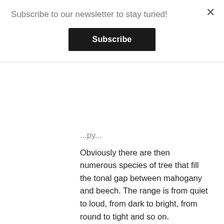Subscribe to our newsletter to stay tuned!
Subscribe
Obviously there are then numerous species of tree that fill the tonal gap between mahogany and beech. The range is from quiet to loud, from dark to bright, from round to tight and so on.
Selecting the species of tree is a first step to determine the desired sound. But what makes a big difference as well is the thickness and the depth of the shell and bearing edges. The possibilities are nearly endless with the different combinations. So it really is possible to build a wooden snare to